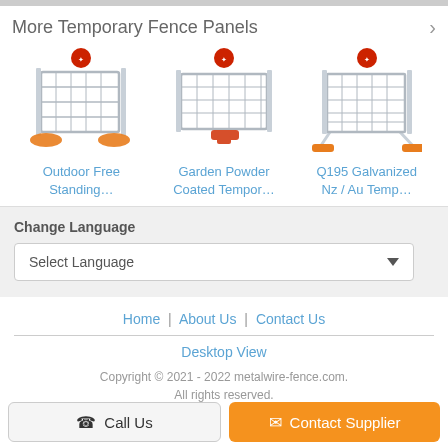More Temporary Fence Panels
[Figure (photo): Outdoor Free Standing temporary fence panel product image with orange feet and red badge]
Outdoor Free Standing...
[Figure (photo): Garden Powder Coated Temporary fence panel product image with orange clamp and red badge]
Garden Powder Coated Tempor...
[Figure (photo): Q195 Galvanized Nz/Au temporary fence panel with orange feet and red badge]
Q195 Galvanized Nz / Au Temp...
Change Language
Select Language
Home | About Us | Contact Us
Desktop View
Copyright © 2021 - 2022 metalwire-fence.com. All rights reserved.
Call Us
Contact Supplier